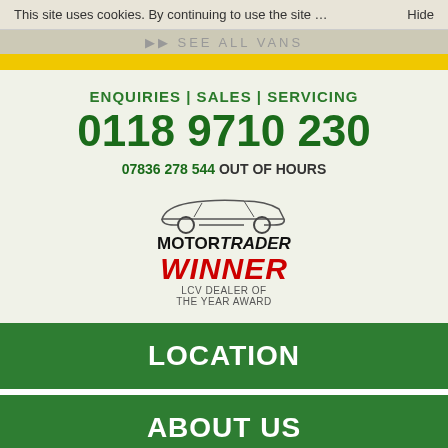This site uses cookies. By continuing to use the site … Hide
SEE ALL VANS
ENQUIRIES | SALES | SERVICING
0118 9710 230
07836 278 544 OUT OF HOURS
[Figure (logo): Motor Trader Winner LCV Dealer of the Year Award logo with car outline illustration]
LOCATION
ABOUT US
Excellent